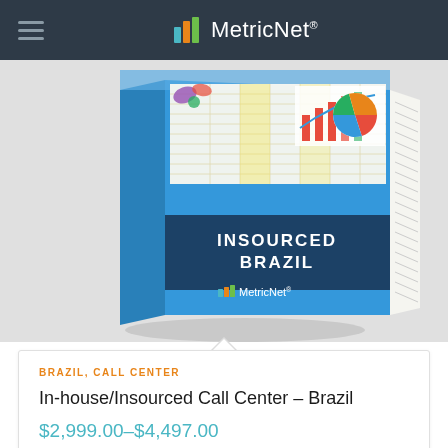MetricNet®
[Figure (photo): A book/report product image titled 'INSOURCED BRAZIL' with MetricNet logo on cover, showing spreadsheets, charts, and a pie chart on the pages visible from the top. The book is shown in 3D perspective against a light gray background.]
BRAZIL, CALL CENTER
In-house/Insourced Call Center – Brazil
$2,999.00–$4,497.00